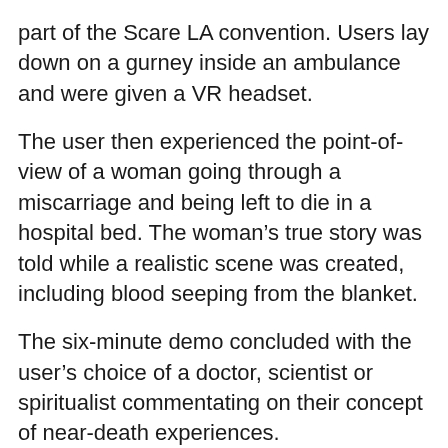part of the Scare LA convention. Users lay down on a gurney inside an ambulance and were given a VR headset.
The user then experienced the point-of-view of a woman going through a miscarriage and being left to die in a hospital bed. The woman's true story was told while a realistic scene was created, including blood seeping from the blanket.
The six-minute demo concluded with the user's choice of a doctor, scientist or spiritualist commentating on their concept of near-death experiences.
“I won’t lie. I had butterflies when I went in. I’m definitely glad I did,” user Fawn Quinn said.
Co-creator John Schnitzer formed the concept 16 years ago after hearing about his friend’s near-death